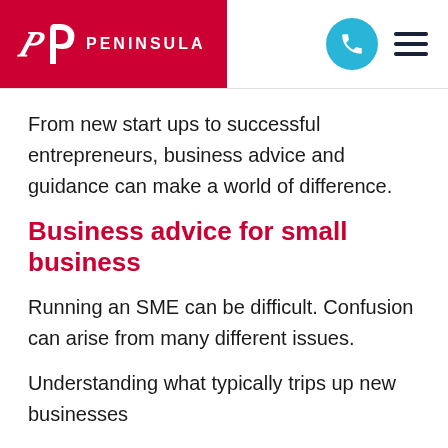Peninsula
From new start ups to successful entrepreneurs, business advice and guidance can make a world of difference.
Business advice for small business
Running an SME can be difficult. Confusion can arise from many different issues.
Understanding what typically trips up new businesses